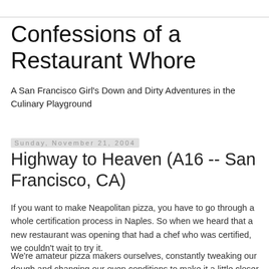Confessions of a Restaurant Whore
A San Francisco Girl's Down and Dirty Adventures in the Culinary Playground
Sunday, November 21, 2004
Highway to Heaven (A16 -- San Francisco, CA)
If you want to make Neapolitan pizza, you have to go through a whole certification process in Naples. So when we heard that a new restaurant was opening that had a chef who was certified, we couldn't wait to try it.
We're amateur pizza makers ourselves, constantly tweaking our dough and changing our oven conditions to make it a little closer to perfection but nothing comes close to A16